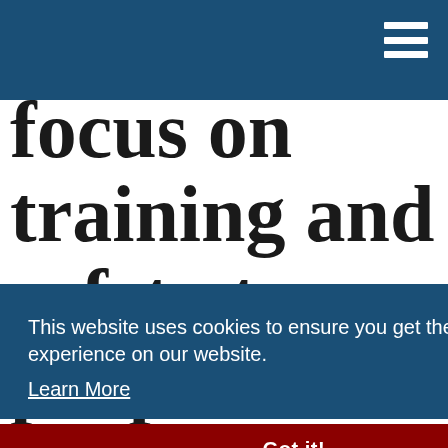focus on training and safety to propel
This website uses cookies to ensure you get the best experience on our website.
Learn More
Got it!
55% by 2030,